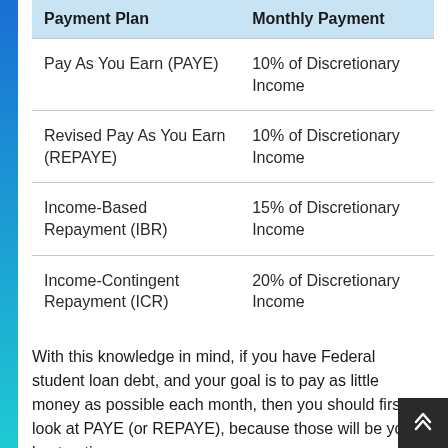| Payment Plan | Monthly Payment |
| --- | --- |
| Pay As You Earn (PAYE) | 10% of Discretionary Income |
| Revised Pay As You Earn (REPAYE) | 10% of Discretionary Income |
| Income-Based Repayment (IBR) | 15% of Discretionary Income |
| Income-Contingent Repayment (ICR) | 20% of Discretionary Income |
With this knowledge in mind, if you have Federal student loan debt, and your goal is to pay as little money as possible each month, then you should first look at PAYE (or REPAYE), because those will be your best options.